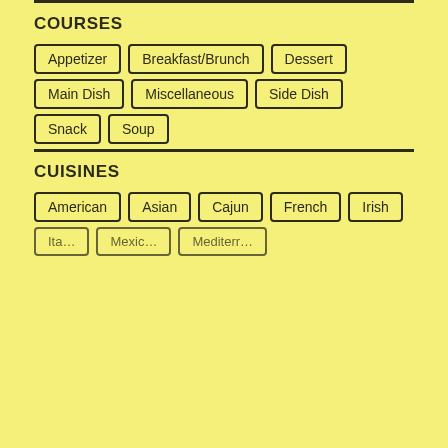COURSES
Appetizer
Breakfast/Brunch
Dessert
Main Dish
Miscellaneous
Side Dish
Snack
Soup
CUISINES
American
Asian
Cajun
French
Irish